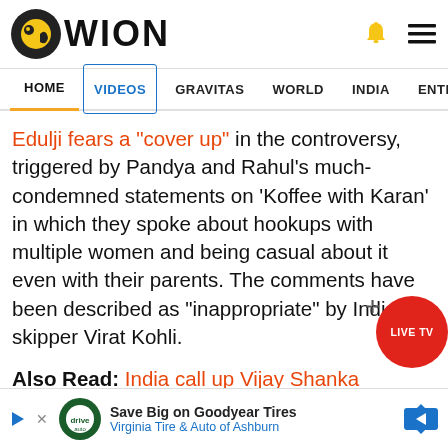WION
HOME VIDEOS GRAVITAS WORLD INDIA ENTERTAINMENT SPORTS
Edulji fears a "cover up" in the controversy, triggered by Pandya and Rahul's much-condemned statements on 'Koffee with Karan' in which they spoke about hookups with multiple women and being casual about it even with their parents. The comments have been described as "inappropriate" by India skipper Virat Kohli.
Also Read: India call up Vijay Shankar, Shubman Gill, Navdeep Saini to replace Pandya...